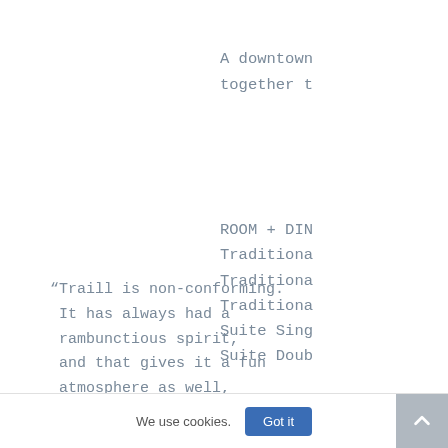A downtown together t
ROOM + DIN Traditiona Traditiona Traditiona Suite Sing Suite Doub
“Traill is non-conforming. It has always had a rambunctious spirit, and that gives it a fun atmosphere as well, because Traill does get to be different. Traill has smaller buildings, a small
LIVING-LEA
Traill to
café, and a pub with live
scholars i
We use cookies.
Got it